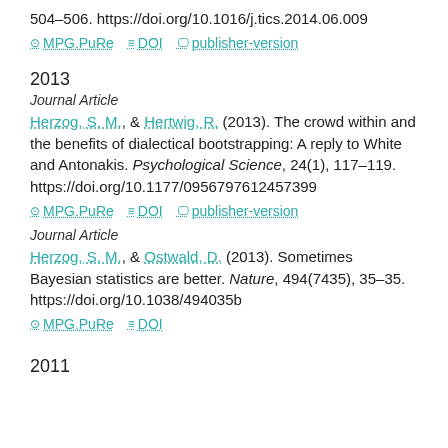504–506. https://doi.org/10.1016/j.tics.2014.06.009
MPG.PuRe  DOI  publisher-version
2013
Journal Article
Herzog, S. M., & Hertwig, R. (2013). The crowd within and the benefits of dialectical bootstrapping: A reply to White and Antonakis. Psychological Science, 24(1), 117–119. https://doi.org/10.1177/0956797612457399
MPG.PuRe  DOI  publisher-version
Journal Article
Herzog, S. M., & Ostwald, D. (2013). Sometimes Bayesian statistics are better. Nature, 494(7435), 35–35. https://doi.org/10.1038/494035b
MPG.PuRe  DOI
2011